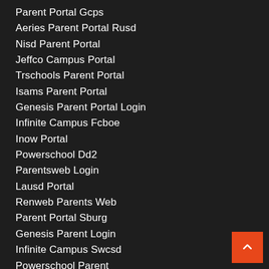Parent Portal Gcps
Aeries Parent Portal Rusd
Nisd Parent Portal
Jeffco Campus Portal
Trschools Parent Portal
Isams Parent Portal
Genesis Parent Portal Login
Infinite Campus Fcboe
Inow Portal
Powerschool Dd2
Parentsweb Login
Lausd Portal
Renweb Parents Web
Parent Portal Sburg
Genesis Parent Login
Infinite Campus Swcsd
Powerschool Parent
Hcisd Parent Portal